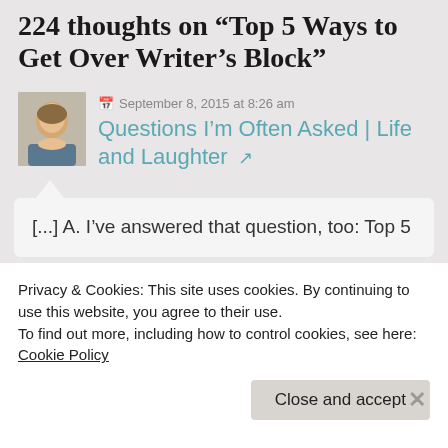224 thoughts on “Top 5 Ways to Get Over Writer’s Block”
September 8, 2015 at 8:26 am
Questions I’m Often Asked | Life and Laughter
[...] A. I’ve answered that question, too: Top 5
Privacy & Cookies: This site uses cookies. By continuing to use this website, you agree to their use.
To find out more, including how to control cookies, see here: Cookie Policy
Close and accept